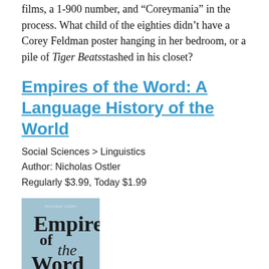films, a 1-900 number, and “Coreymania” in the process. What child of the eighties didn’t have a Corey Feldman poster hanging in her bedroom, or a pile of Tiger Beatsstashed in his closet?
Empires of the Word: A Language History of the World
Social Sciences > Linguistics
Author: Nicholas Ostler
Regularly $3.99, Today $1.99
[Figure (illustration): Book cover for 'Empires of the Word: A Language History of the World' by Nicholas Ostler. Light blue background with large stylized text.]